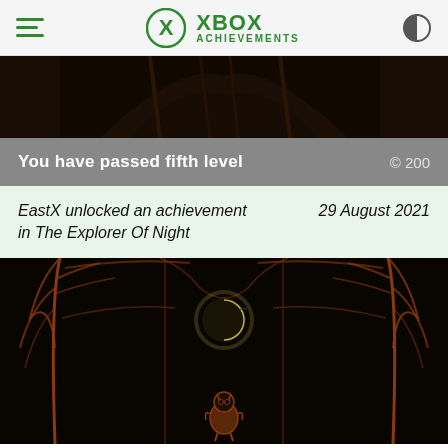XBOX ACHIEVEMENTS
[Figure (screenshot): Dark night scene showing trees with glowing outlines from the game The Explorer Of Night (top portion)]
You have passed fifth level  © 200
EastX unlocked an achievement in The Explorer Of Night    29 August 2021
[Figure (screenshot): Dark night scene from the game The Explorer Of Night: a small owl-like character stands looking up at a crescent moon between two trees with glowing orange outlines]